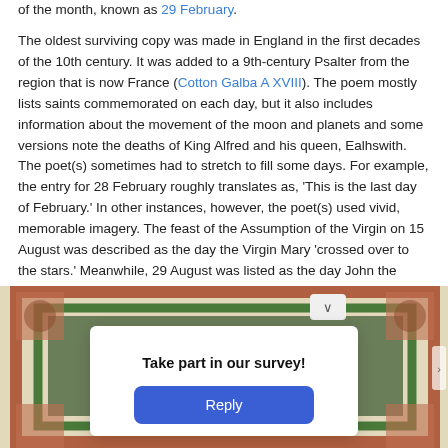of the month, known as 29 February.
The oldest surviving copy was made in England in the first decades of the 10th century. It was added to a 9th-century Psalter from the region that is now France (Cotton Galba A XVIII). The poem mostly lists saints commemorated on each day, but it also includes information about the movement of the moon and planets and some versions note the deaths of King Alfred and his queen, Ealhswith. The poet(s) sometimes had to stretch to fill some days. For example, the entry for 28 February roughly translates as, 'This is the last day of February.' In other instances, however, the poet(s) used vivid, memorable imagery. The feast of the Assumption of the Virgin on 15 August was described as the day the Virgin Mary 'crossed over to the stars.' Meanwhile, 29 August was listed as the day John the Baptist's 'neck was truncated with a sharp sword'.
[Figure (photo): Photograph of an illuminated manuscript page showing decorative borders in terracotta/red and green, with a survey popup overlay reading 'Take part in our survey!' with a blue Reply button.]